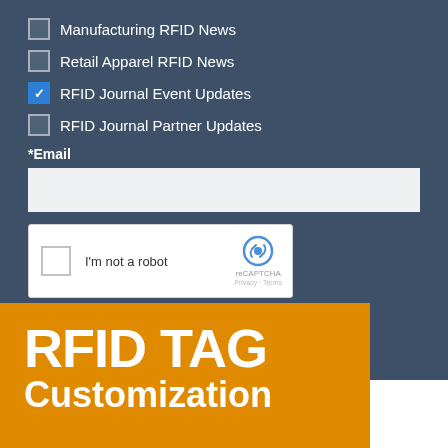Manufacturing RFID News
Retail Apparel RFID News
RFID Journal Event Updates
RFID Journal Partner Updates
*Email
[Figure (other): reCAPTCHA widget with checkbox and 'I'm not a robot' text, reCAPTCHA logo, Privacy and Terms links]
SUBSCRIBE
RFID TAG Customization